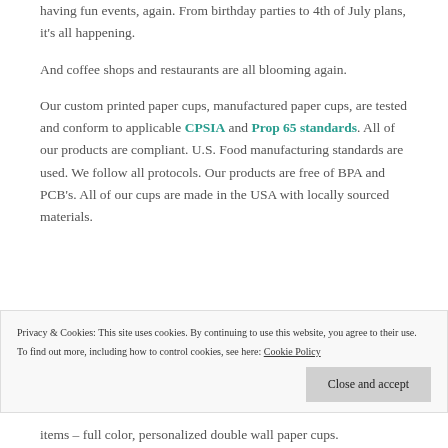having fun events, again. From birthday parties to 4th of July plans, it's all happening.
And coffee shops and restaurants are all blooming again.
Our custom printed paper cups, manufactured paper cups, are tested and conform to applicable CPSIA and Prop 65 standards. All of our products are compliant. U.S. Food manufacturing standards are used. We follow all protocols. Our products are free of BPA and PCB's. All of our cups are made in the USA with locally sourced materials.
Privacy & Cookies: This site uses cookies. By continuing to use this website, you agree to their use. To find out more, including how to control cookies, see here: Cookie Policy
items – full color, personalized double wall paper cups.